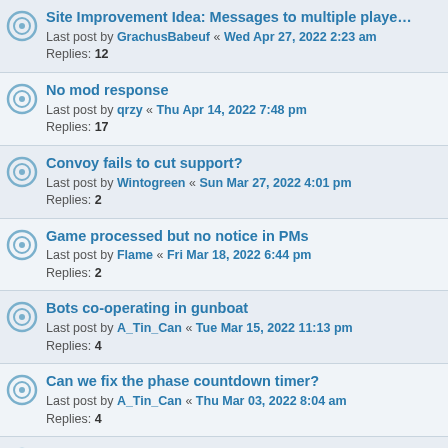Site Improvement Idea: Messages to multiple players | Last post by GrachusBabeuf « Wed Apr 27, 2022 2:23 am | Replies: 12
No mod response | Last post by qrzy « Thu Apr 14, 2022 7:48 pm | Replies: 17
Convoy fails to cut support? | Last post by Wintogreen « Sun Mar 27, 2022 4:01 pm | Replies: 2
Game processed but no notice in PMs | Last post by Flame « Fri Mar 18, 2022 6:44 pm | Replies: 2
Bots co-operating in gunboat | Last post by A_Tin_Can « Tue Mar 15, 2022 11:13 pm | Replies: 4
Can we fix the phase countdown timer? | Last post by A_Tin_Can « Thu Mar 03, 2022 8:04 am | Replies: 4
Reliability Rating | Last post by LilDipper « Fri Feb 25, 2022 11:44 pm | Replies: 4
E-mail notifications? | Last post by montalvo « Wed Feb 16, 2022 7:55 pm | Replies: 8